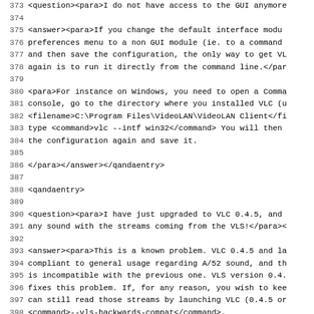Source code view, lines 373-405, showing XML/DocBook markup for a VLC FAQ document covering GUI access issues, VLC 0.4.5 sound problems, and NO VIDEO/AUDIO questions.